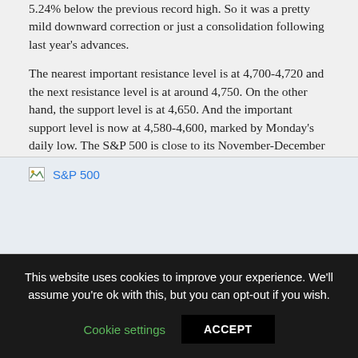5.24% below the previous record high. So it was a pretty mild downward correction or just a consolidation following last year's advances.
The nearest important resistance level is at 4,700-4,720 and the next resistance level is at around 4,750. On the other hand, the support level is at 4,650. And the important support level is now at 4,580-4,600, marked by Monday's daily low. The S&P 500 is close to its November-December local highs again, as we can see on the daily chart (chart by courtesy of http://stockcharts.com):
[Figure (photo): S&P 500 stock chart image (broken/loading), sourced from stockcharts.com]
This website uses cookies to improve your experience. We'll assume you're ok with this, but you can opt-out if you wish.